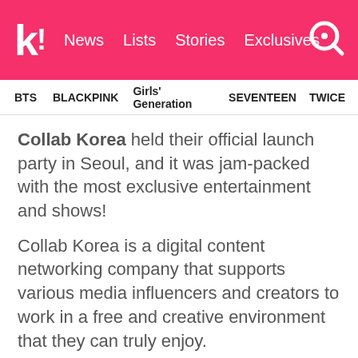koreaboo | News | Lists | Stories | Exclusives
BTS | BLACKPINK | Girls' Generation | SEVENTEEN | TWICE
Collab Korea held their official launch party in Seoul, and it was jam-packed with the most exclusive entertainment and shows!
Collab Korea is a digital content networking company that supports various media influencers and creators to work in a free and creative environment that they can truly enjoy.
Check out the complete re-cap video of Collab Korea's launch party!
[Figure (screenshot): Video thumbnail showing partial red circular shape on dark/black background, bottom edge of the page]